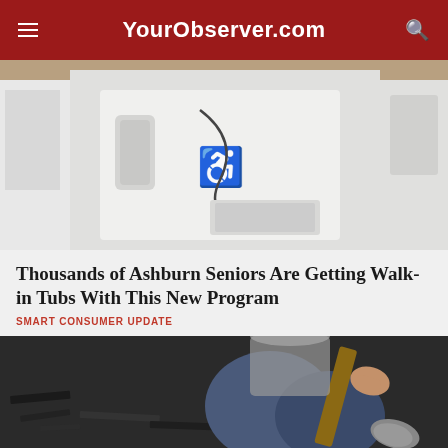YourObserver.com
[Figure (photo): Walk-in tub with accessibility symbol on the door panel, displayed outdoors]
Thousands of Ashburn Seniors Are Getting Walk-in Tubs With This New Program
SMART CONSUMER UPDATE
[Figure (photo): Person using a shovel on dark asphalt or roofing material]